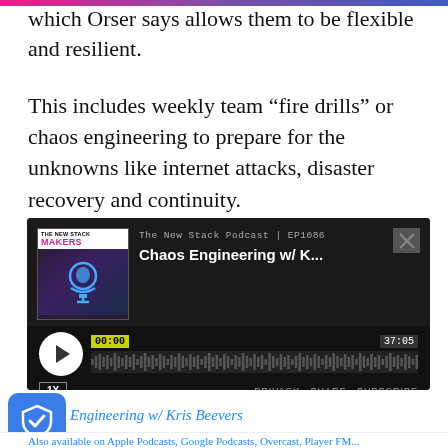which Orser says allows them to be flexible and resilient.
This includes weekly team “fire drills” or chaos engineering to prepare for the unknowns like internet attacks, disaster recovery and continuity.
[Figure (screenshot): Embedded podcast player for The New Stack Podcast EP1086 titled 'Chaos Engineering w/ K...' showing a waveform, playback controls at 00:00 of 37:05, 1X speed button, and PRIVACY SHARE SUBSCRIBE links.]
Engineering w/ Kris Beevers
Also available on Apple Podcasts, Google Podcasts, Overcast, Player FM...